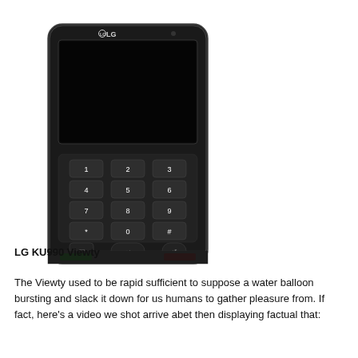[Figure (photo): Front view of LG KU990 Viewty mobile phone, black color, showing touchscreen display and numeric keypad with call/end buttons at the bottom]
LG KU990 Viewty
The Viewty used to be rapid sufficient to suppose a water balloon bursting and slack it down for us humans to gather pleasure from. If fact, here's a video we shot arrive abet then displaying factual that: